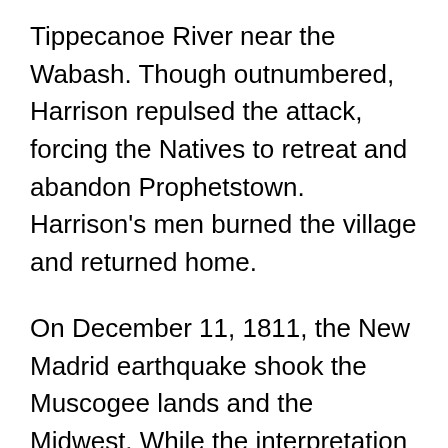Tippecanoe River near the Wabash. Though outnumbered, Harrison repulsed the attack, forcing the Natives to retreat and abandon Prophetstown. Harrison's men burned the village and returned home.
On December 11, 1811, the New Madrid earthquake shook the Muscogee lands and the Midwest. While the interpretation of this event varied from tribe to tribe, they agreed that the powerful earthquake had to have spiritual significance. The earthquake and its aftershocks helped the Tecumseh resistance movement as the Muscogee and other Native